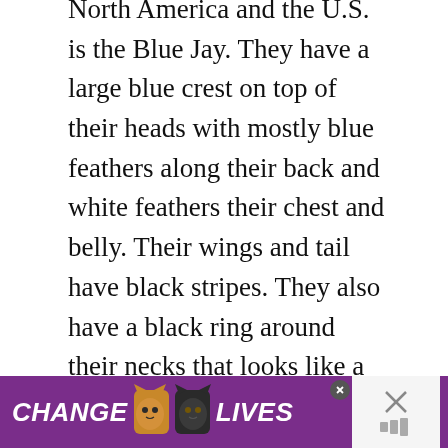North America and the U.S. is the Blue Jay. They have a large blue crest on top of their heads with mostly blue feathers along their back and white feathers their chest and belly. Their wings and tail have black stripes. They also have a black ring around their necks that looks like a necklace. They have several loud, metallic sounding calls, and will often be among the first to alert all the birds in the area of a predator such as a hawk.
Blue Jays are another year-round resident to the entire state of New Hampshire,
[Figure (screenshot): WHAT'S NEXT panel showing '26 Backyard Birds in...' with a bird photo thumbnail]
[Figure (infographic): Advertisement banner reading CHANGE LIVES with two cat images, purple background, with close buttons]